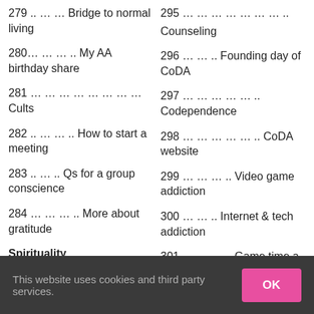279 .. … … Bridge to normal living
280… … … .. My AA birthday share
281  … … … … … … … … Cults
282 .. … … .. How to start a meeting
283 .. … .. Qs for a group conscience
284  … … … .. More about gratitude
Spirituality … … ..
295  … … … … … … … ..
Counseling
296 … … .. Founding day of CoDA
297  … … … … … .. Codependence
298  … … … … … .. CoDA website
299 … … … .. Video game addiction
300 … … .. Internet & tech addiction
301 … … … .. Game time a
This website uses cookies and third party services.